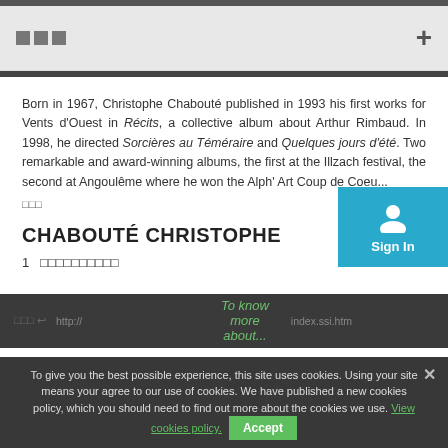□□□  +
Born in 1967, Christophe Chabouté published in 1993 his first works for Vents d'Ouest in Récits, a collective album about Arthur Rimbaud. In 1998, he directed Sorcières au Téméraire and Quelques jours d'été. Two remarkable and award-winning albums, the first at the Illzach festival, the second at Angoulême where he won the Alph' Art Coup de Coeu...
□□□
CHABOUTÉ CHRISTOPHE
1   □□□□□□□□□□
To give you the best possible experience, this site uses cookies. Using your site means your agree to our use of cookies. We have published a new cookies policy, which you should need to find out more about the cookies we use. View cookies policy.  Accept